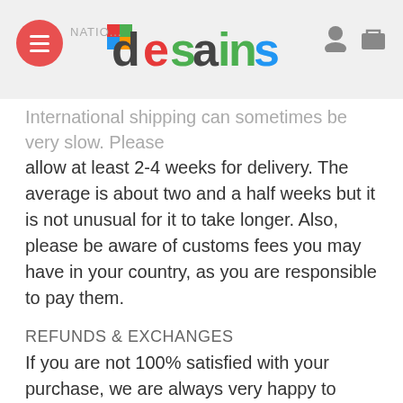desains
International shipping can sometimes be very slow. Please allow at least 2-4 weeks for delivery. The average is about two and a half weeks but it is not unusual for it to take longer. Also, please be aware of customs fees you may have in your country, as you are responsible to pay them.
REFUNDS & EXCHANGES
If you are not 100% satisfied with your purchase, we are always very happy to help. We can offer an exchange or refund on receipt of any un worn return up to 30 days from order.
Washing Instructions Chester Bennington Best Merch Hoodie :
Turn garment inside out.
Machine wash cold.